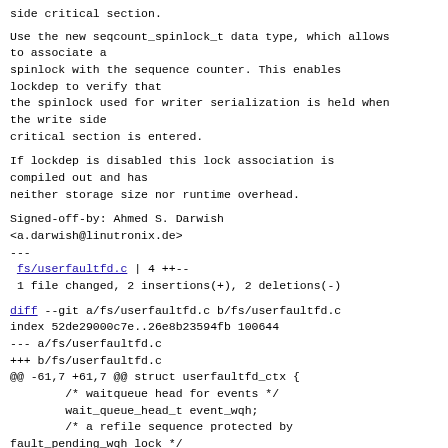side critical section.
Use the new seqcount_spinlock_t data type, which allows to associate a
spinlock with the sequence counter. This enables lockdep to verify that
the spinlock used for writer serialization is held when the write side
critical section is entered.
If lockdep is disabled this lock association is compiled out and has
neither storage size nor runtime overhead.
Signed-off-by: Ahmed S. Darwish
<a.darwish@linutronix.de>
---
 fs/userfaultfd.c | 4 ++--
 1 file changed, 2 insertions(+), 2 deletions(-)
diff --git a/fs/userfaultfd.c b/fs/userfaultfd.c
index 52de29000c7e..26e8b23594fb 100644
--- a/fs/userfaultfd.c
+++ b/fs/userfaultfd.c
@@ -61,7 +61,7 @@ struct userfaultfd_ctx {
        /* waitqueue head for events */
        wait_queue_head_t event_wqh;
        /* a refile sequence protected by fault_pending_wqh lock */
-       struct seqcount refile_seq;